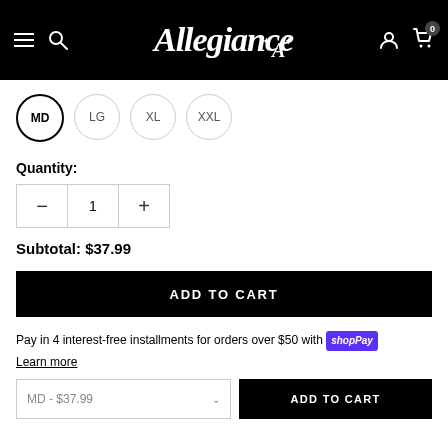Allegiance — navigation header with hamburger menu, search, logo, user icon, cart (0)
MD (selected), LG, XL, XXL — size selector buttons
Quantity:
1 (quantity input with minus and plus buttons)
Subtotal: $37.99
ADD TO CART
Pay in 4 interest-free installments for orders over $50 with Shop Pay
Learn more
MD - $37.99   ADD TO CART